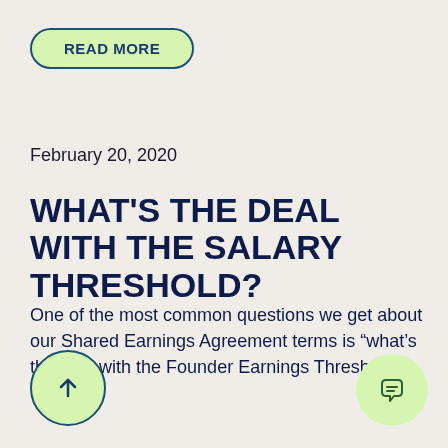READ MORE
February 20, 2020
WHAT'S THE DEAL WITH THE SALARY THRESHOLD?
One of the most common questions we get about our Shared Earnings Agreement terms is “what’s the deal with the Founder Earnings Threshold?”